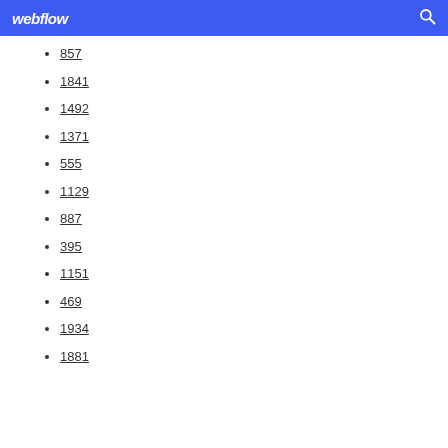webflow
857
1841
1492
1371
555
1129
887
395
1151
469
1934
1881